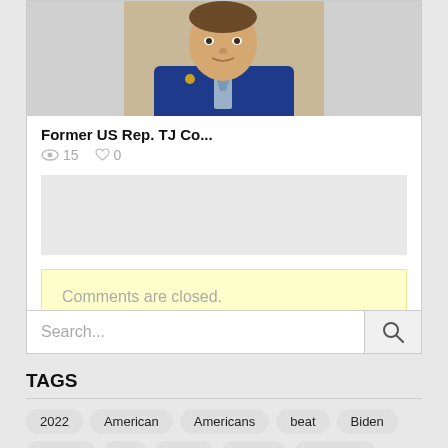[Figure (photo): Photo of a man in a dark suit speaking, partial view showing head and shoulders against a neutral background]
Former US Rep. TJ Co...
15  0
Comments are closed.
Search...
TAGS
2022
American
Americans
beat
Biden
Biden's
bill
Black
border
California
calls
China
Court
Covid'
Covid19
crisis
dead
death
Democrats
family
Florida
Game